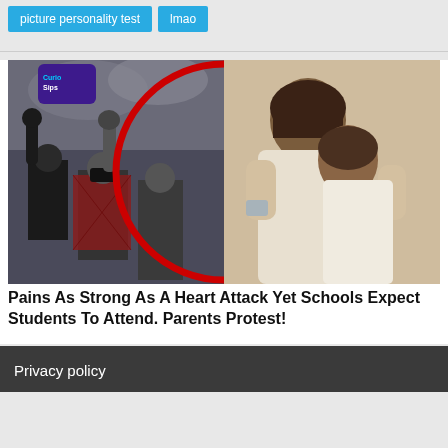picture personality test
lmao
[Figure (photo): Composite image: left side shows masked protesters with fists raised (with 'Curio Sips' logo overlay and red circle border), right side shows two people embracing emotionally]
Pains As Strong As A Heart Attack Yet Schools Expect Students To Attend. Parents Protest!
Privacy policy